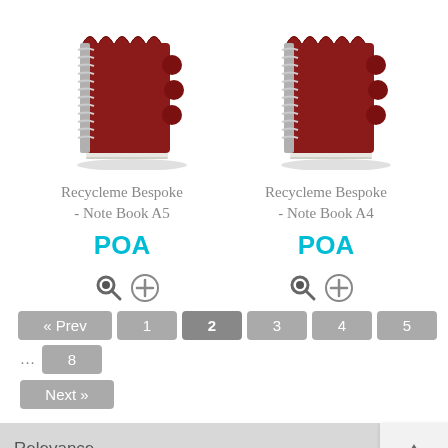[Figure (photo): Red spiral-bound notebook with scalloped cover (A5 size), viewed at slight angle]
[Figure (photo): Red spiral-bound notebook with scalloped cover (A4 size), viewed at slight angle]
Recycleme Bespoke - Note Book A5
Recycleme Bespoke - Note Book A4
POA
POA
« Prev 1 2 3 4 5 … 8 Next »
Relevance
Virtual Catalogue